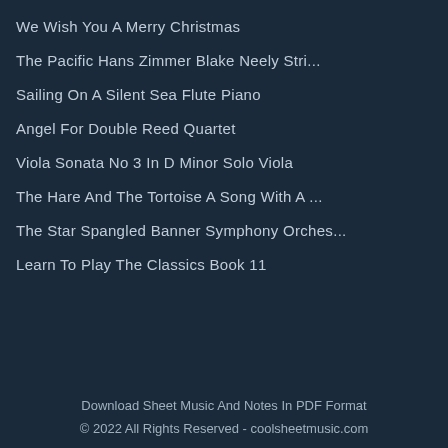We Wish You A Merry Christmas
The Pacific Hans Zimmer Blake Neely Stri...
Sailing On A Silent Sea Flute Piano
Angel For Double Reed Quartet
Viola Sonata No 3 In D Minor Solo Viola
The Hare And The Tortoise A Song With A ...
The Star Spangled Banner Symphony Orches...
Learn To Play The Classics Book 11
Download Sheet Music And Notes In PDF Format
© 2022 All Rights Reserved - coolsheetmusic.com